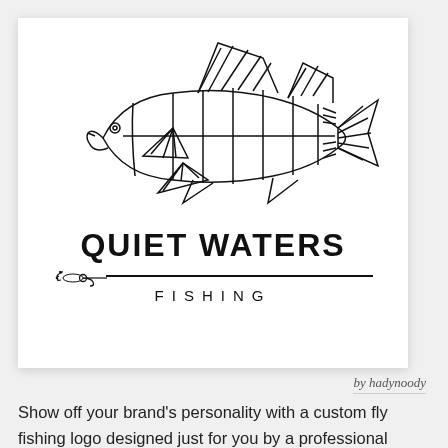[Figure (logo): Quiet Waters Fishing logo featuring a geometric line-art fish (striped bass) above the text 'QUIET WATERS' in bold sans-serif, with a fly fishing lure icon and horizontal line divider, and 'FISHING' in spaced capitals below.]
by hadynoody
Show off your brand's personality with a custom fly fishing logo designed just for you by a professional designer. Need ideas? We've collected some